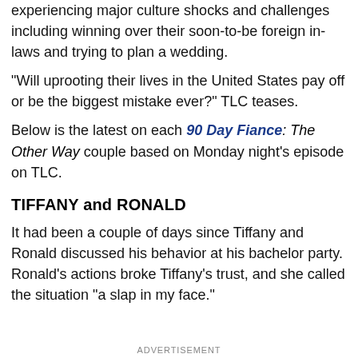experiencing major culture shocks and challenges including winning over their soon-to-be foreign in-laws and trying to plan a wedding.
"Will uprooting their lives in the United States pay off or be the biggest mistake ever?" TLC teases.
Below is the latest on each 90 Day Fiance: The Other Way couple based on Monday night's episode on TLC.
TIFFANY and RONALD
It had been a couple of days since Tiffany and Ronald discussed his behavior at his bachelor party. Ronald's actions broke Tiffany's trust, and she called the situation "a slap in my face."
ADVERTISEMENT